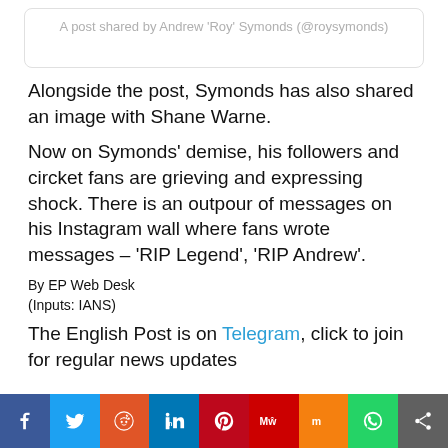A post shared by Andrew 'Roy' Symonds (@roysymonds)
Alongside the post, Symonds has also shared an image with Shane Warne.
Now on Symonds' demise, his followers and circket fans are grieving and expressing shock. There is an outpour of messages on his Instagram wall where fans wrote messages – 'RIP Legend', 'RIP Andrew'.
By EP Web Desk
(Inputs: IANS)
The English Post is on Telegram, click to join for regular news updates
[Figure (infographic): Social media sharing bar with icons for Facebook, Twitter, Reddit, LinkedIn, Pinterest, MeWe, Mix, WhatsApp, and a generic share button]